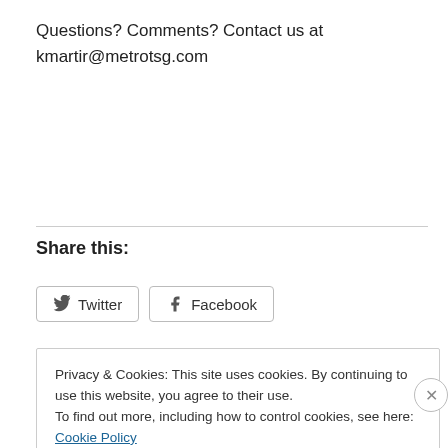Questions? Comments?  Contact us at kmartir@metrotsg.com
Share this:
Twitter  Facebook
Privacy & Cookies: This site uses cookies. By continuing to use this website, you agree to their use.
To find out more, including how to control cookies, see here: Cookie Policy
Close and accept